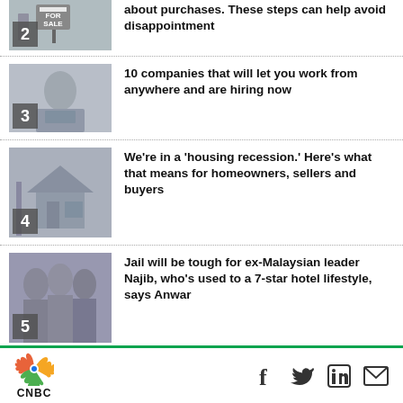2 — about purchases. These steps can help avoid disappointment
3 — 10 companies that will let you work from anywhere and are hiring now
4 — We're in a 'housing recession.' Here's what that means for homeowners, sellers and buyers
5 — Jail will be tough for ex-Malaysian leader Najib, who's used to a 7-star hotel lifestyle, says Anwar
CNBC